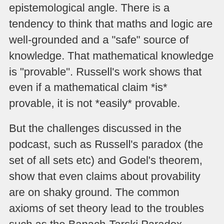epistemological angle. There is a tendency to think that maths and logic are well-grounded and a "safe" source of knowledge. That mathematical knowledge is "provable". Russell's work shows that even if a mathematical claim *is* provable, it is not *easily* provable.
But the challenges discussed in the podcast, such as Russell's paradox (the set of all sets etc) and Godel's theorem, show that even claims about provability are on shaky ground. The common axioms of set theory lead to the troubles such as the Banach-Tarski Paradox (http://en.wikipedia.org/wiki/Banach%E2%80%93Tarski And if that is so, why should we trust other conclusion derived from set theory?